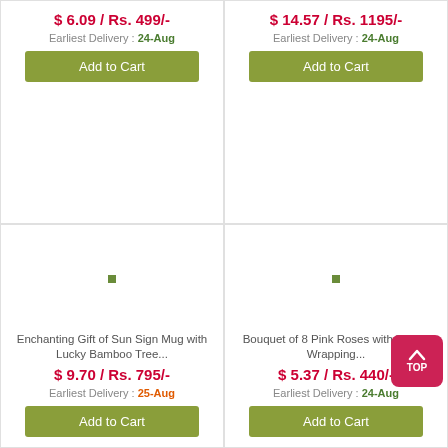$ 6.09 / Rs. 499/-
Earliest Delivery : 24-Aug
Add to Cart
$ 14.57 / Rs. 1195/-
Earliest Delivery : 24-Aug
Add to Cart
[Figure (illustration): Product image placeholder with green dot]
Enchanting Gift of Sun Sign Mug with Lucky Bamboo Tree...
$ 9.70 / Rs. 795/-
Earliest Delivery : 25-Aug
Add to Cart
[Figure (illustration): Product image placeholder with green dot]
Bouquet of 8 Pink Roses with Tissue Wrapping...
$ 5.37 / Rs. 440/-
Earliest Delivery : 24-Aug
Add to Cart